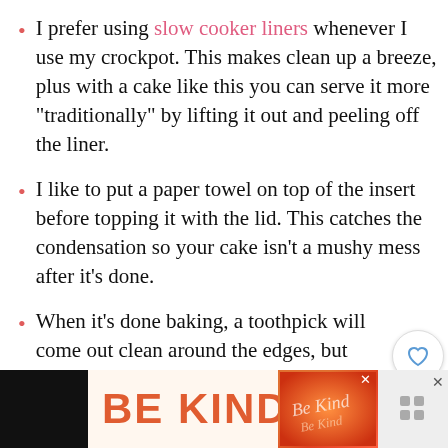I prefer using slow cooker liners whenever I use my crockpot. This makes clean up a breeze, plus with a cake like this you can serve it more “traditionally” by lifting it out and peeling off the liner.
I like to put a paper towel on top of the insert before topping it with the lid. This catches the condensation so your cake isn’t a mushy mess after it’s done.
When it’s done baking, a toothpick will come out clean around the edges, but the top will still be wet-looking. Some crumbs will stick to the toothpick, but the bottom will be done. Once the sides are done, the cake is done.
[Figure (screenshot): Advertisement banner at the bottom reading BE KIND with decorative script image and a close button. Adjacent dark panel and grey panel with X button.]